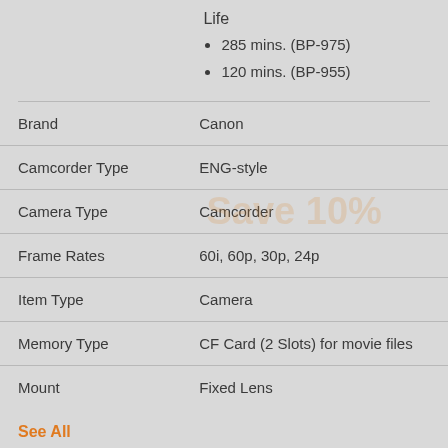Life
285 mins. (BP-975)
120 mins. (BP-955)
|  |  |
| --- | --- |
| Brand | Canon |
| Camcorder Type | ENG-style |
| Camera Type | Camcorder |
| Frame Rates | 60i, 60p, 30p, 24p |
| Item Type | Camera |
| Memory Type | CF Card (2 Slots) for movie files |
| Mount | Fixed Lens |
See All